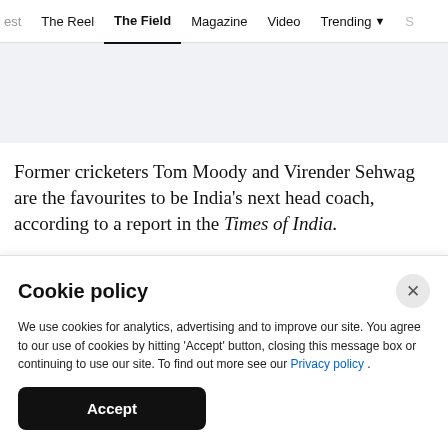est   The Reel   The Field   Magazine   Video   Trending   S
Former cricketers Tom Moody and Virender Sehwag are the favourites to be India's next head coach, according to a report in the Times of India.
Cookie policy
We use cookies for analytics, advertising and to improve our site. You agree to our use of cookies by hitting 'Accept' button, closing this message box or continuing to use our site. To find out more see our Privacy policy .